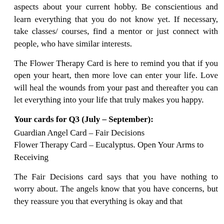aspects about your current hobby. Be conscientious and learn everything that you do not know yet. If necessary, take classes/ courses, find a mentor or just connect with people, who have similar interests.
The Flower Therapy Card is here to remind you that if you open your heart, then more love can enter your life. Love will heal the wounds from your past and thereafter you can let everything into your life that truly makes you happy.
Your cards for Q3 (July – September):
Guardian Angel Card – Fair Decisions
Flower Therapy Card – Eucalyptus. Open Your Arms to Receiving
The Fair Decisions card says that you have nothing to worry about. The angels know that you have concerns, but they reassure you that everything is okay and that